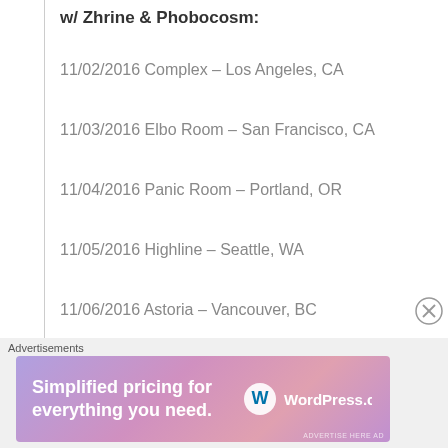w/ Zhrine & Phobocosm:
11/02/2016 Complex – Los Angeles, CA
11/03/2016 Elbo Room – San Francisco, CA
11/04/2016 Panic Room – Portland, OR
11/05/2016 Highline – Seattle, WA
11/06/2016 Astoria – Vancouver, BC
11/07/2016 The Golden Bull – Oakland, CA
Advertisements
[Figure (other): WordPress.com advertisement banner: 'Simplified pricing for everything you need.']